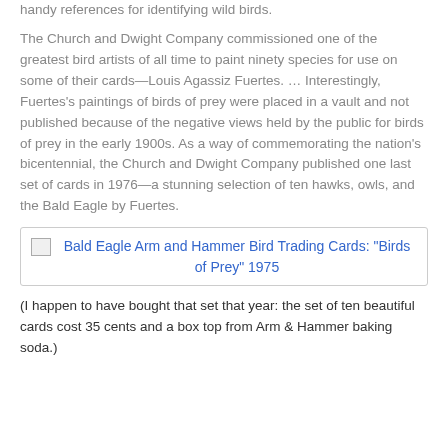handy references for identifying wild birds.
The Church and Dwight Company commissioned one of the greatest bird artists of all time to paint ninety species for use on some of their cards—Louis Agassiz Fuertes. … Interestingly, Fuertes's paintings of birds of prey were placed in a vault and not published because of the negative views held by the public for birds of prey in the early 1900s. As a way of commemorating the nation's bicentennial, the Church and Dwight Company published one last set of cards in 1976—a stunning selection of ten hawks, owls, and the Bald Eagle by Fuertes.
[Figure (photo): Broken image placeholder with link text: Bald Eagle Arm and Hammer Bird Trading Cards: "Birds of Prey" 1975]
(I happen to have bought that set that year: the set of ten beautiful cards cost 35 cents and a box top from Arm & Hammer baking soda.)